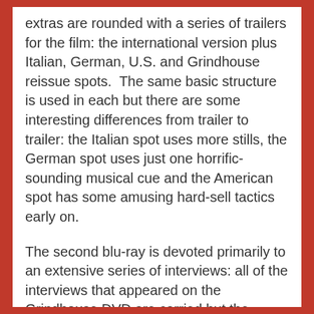extras are rounded with a series of trailers for the film: the international version plus Italian, German, U.S. and Grindhouse reissue spots.  The same basic structure is used in each but there are some interesting differences from trailer to trailer: the Italian spot uses more stills, the German spot uses just one horrific-sounding musical cue and the American spot has some amusing hard-sell tactics early on.
The second blu-ray is devoted primarily to an extensive series of interviews: all of the interviews that appeared on the Grindhouse DVD are carried but the making-of featurette is omitted.  The older interviews start with a gripping sitdown with Kerman.  He's openly critical of Deodato (at one point, Kerman says "I don't think he has a soul.") and discusses their contentious relationship on set.  He